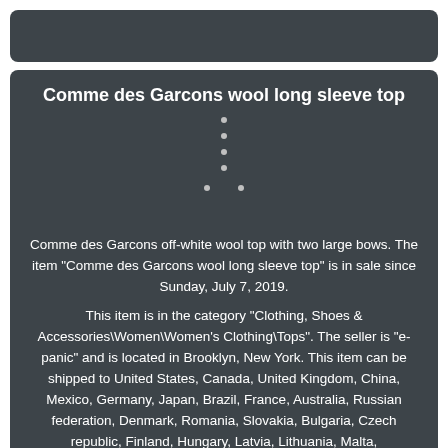Comme des Garcons wool long sleeve top
Comme des Garcons off-white wool top with two large bows. The item "Comme des Garcons wool long sleeve top" is in sale since Sunday, July 7, 2019.
This item is in the category "Clothing, Shoes & Accessories\Women\Women's Clothing\Tops". The seller is "e-panic" and is located in Brooklyn, New York. This item can be shipped to United States, Canada, United Kingdom, China, Mexico, Germany, Japan, Brazil, France, Australia, Russian federation, Denmark, Romania, Slovakia, Bulgaria, Czech republic, Finland, Hungary, Latvia, Lithuania, Malta,